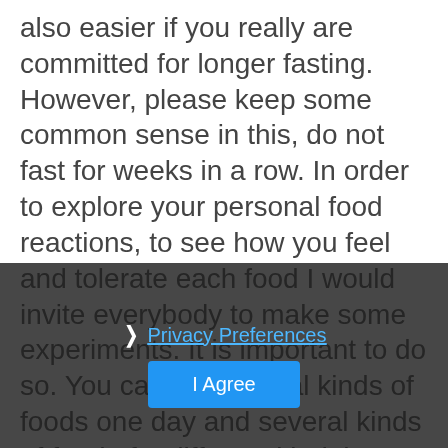also easier if you really are committed for longer fasting. However, please keep some common sense in this, do not fast for weeks in a row. In order to explore your personal food reactions, to see how you feel and tolerate each food I would invite everybody to make some experiments. It is important to do so. You can eat several kinds of foods one day and several kinds of food of a different kind the next day and see how you feel. We all respond to food differently and have different food sensitivities and food allergies. We usually don't know what they are. This way we can at least begin to have an idea what foods work for us and what not. Eating the food that makes us feel good; not only that makes us feel lighter and better, but
[Figure (screenshot): Cookie consent / privacy preferences overlay with dark semi-transparent background, a close (×) button in top-right, a '› Privacy Preferences' link in blue, and a blue 'I Agree' button.]